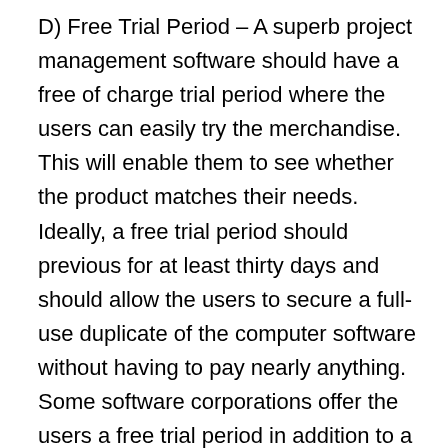D) Free Trial Period – A superb project management software should have a free of charge trial period where the users can easily try the merchandise. This will enable them to see whether the product matches their needs. Ideally, a free trial period should previous for at least thirty days and should allow the users to secure a full-use duplicate of the computer software without having to pay nearly anything. Some software corporations offer the users a free trial period in addition to a money-back guarantee. This enables you to test ambrefod.com.ng the product prior to they make any kind of commitment to purchase it.
E) Metrics — The metrics of a task management tool should allow the users to read their